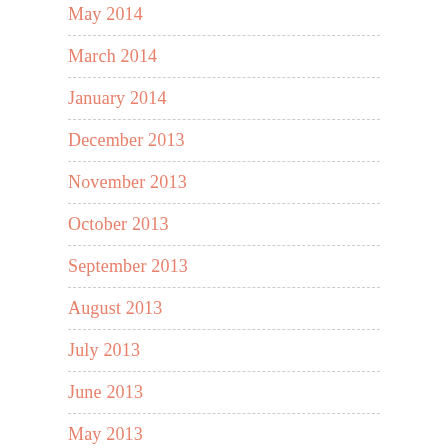May 2014
March 2014
January 2014
December 2013
November 2013
October 2013
September 2013
August 2013
July 2013
June 2013
May 2013